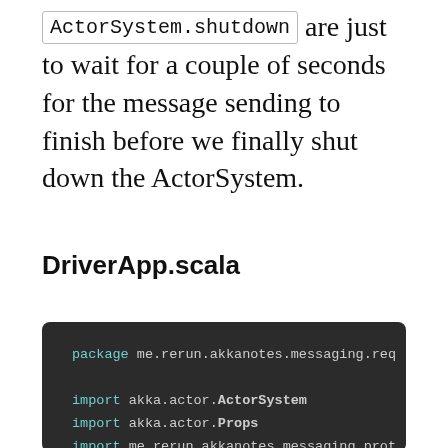ActorSystem.shutdown are just to wait for a couple of seconds for the message sending to finish before we finally shut down the ActorSystem.
DriverApp.scala
[Figure (screenshot): Dark-themed code editor screenshot showing Scala code: package me.rerun.akkanotes.messaging.req, import akka.actor.ActorSystem, import akka.actor.Props, import me.rerun.akkanotes.messaging.prot]